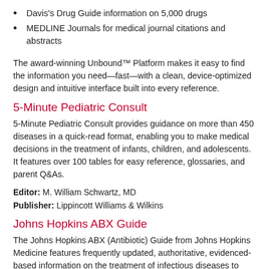Davis's Drug Guide information on 5,000 drugs
MEDLINE Journals for medical journal citations and abstracts
The award-winning Unbound™ Platform makes it easy to find the information you need—fast—with a clean, device-optimized design and intuitive interface built into every reference.
5-Minute Pediatric Consult
5-Minute Pediatric Consult provides guidance on more than 450 diseases in a quick-read format, enabling you to make medical decisions in the treatment of infants, children, and adolescents. It features over 100 tables for easy reference, glossaries, and parent Q&As.
Editor: M. William Schwartz, MD
Publisher: Lippincott Williams & Wilkins
Johns Hopkins ABX Guide
The Johns Hopkins ABX (Antibiotic) Guide from Johns Hopkins Medicine features frequently updated, authoritative, evidenced-based information on the treatment of infectious diseases to help you make decisions at the point of care. This comprehensive web and mobile resource organizes details of diagnosis; drug indications, dosing, pharmacokinetics, side effects and interactions; pathogens; management; and vaccines into easily accessible, quick-read entries.